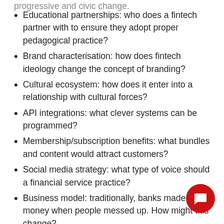Educational partnerships: who does a fintech partner with to ensure they adopt proper pedagogical practice?
Brand characterisation: how does fintech ideology change the concept of branding?
Cultural ecosystem: how does it enter into a relationship with cultural forces?
API integrations: what clever systems can be programmed?
Membership/subscription benefits: what bundles and content would attract customers?
Social media strategy: what type of voice should a financial service practice?
Business model: traditionally, banks made money when people messed up. How might this change?